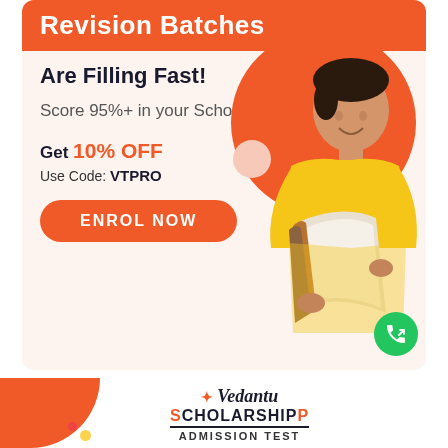Revision Batches
Are Filling Fast!
Score 95%+ in your School Exams
Get 10% OFF
Use Code: VTPRO
ENROL NOW
[Figure (illustration): Student in yellow sweater holding books, standing in front of orange circle, with Vedantu Scholarship Admission Test branding at the bottom]
Vedantu Scholarship Admission Test